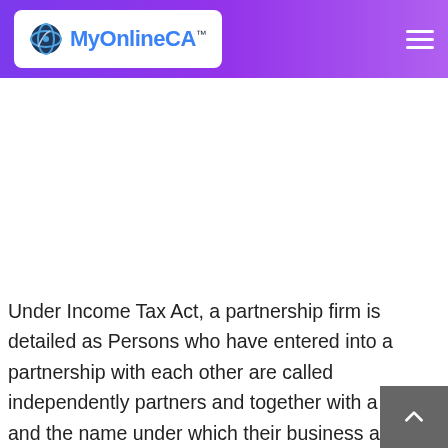MyOnlineCA™
Under Income Tax Act, a partnership firm is detailed as Persons who have entered into a partnership with each other are called independently partners and together with a firm, and the name under which their business activity is accomplished on is called the firm name. In this article, we look at the procedure for filing the tax return for partnership firm along with tax rate and the